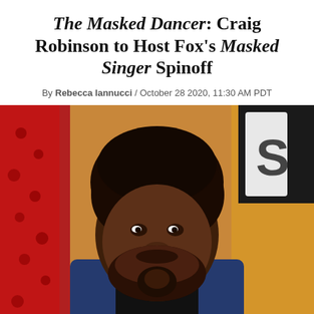The Masked Dancer: Craig Robinson to Host Fox's Masked Singer Spinoff
By Rebecca Iannucci / October 28 2020, 11:30 AM PDT
[Figure (photo): Portrait photo of Craig Robinson, a Black man with an afro, beard, wearing a blue suit jacket and black shirt, smiling slightly, at what appears to be a red carpet event with red and orange background elements.]